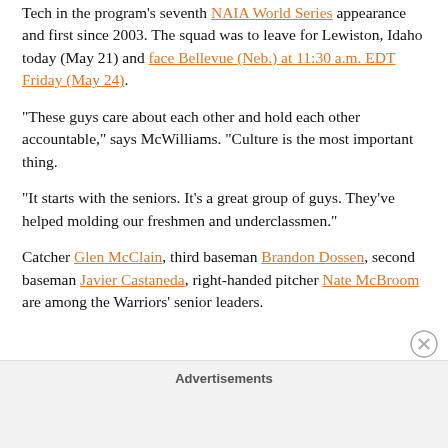Tech in the program's seventh NAIA World Series appearance and first since 2003. The squad was to leave for Lewiston, Idaho today (May 21) and face Bellevue (Neb.) at 11:30 a.m. EDT Friday (May 24).
“These guys care about each other and hold each other accountable,” says McWilliams. “Culture is the most important thing.
“It starts with the seniors. It’s a great group of guys. They’ve helped molding our freshmen and underclassmen.”
Catcher Glen McClain, third baseman Brandon Dossen, second baseman Javier Castaneda, right-handed pitcher Nate McBroom are among the Warriors’ senior leaders.
Advertisements